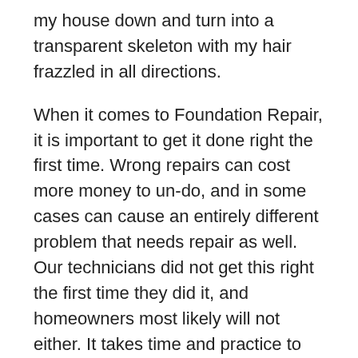my house down and turn into a transparent skeleton with my hair frazzled in all directions.
When it comes to Foundation Repair, it is important to get it done right the first time. Wrong repairs can cost more money to un-do, and in some cases can cause an entirely different problem that needs repair as well. Our technicians did not get this right the first time they did it, and homeowners most likely will not either. It takes time and practice to understand the techniques and methods involved when dealing with these issues.
So, when it comes to the hole in your wall, grab a patch of drywall and mud and learn how to repair that hole. When it comes to a crack in your foundation, or water in your basement, call the professionals.